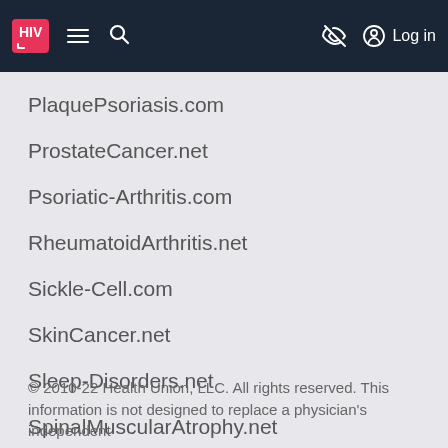HIV — nav bar with hamburger menu, search, eye-off icon, Log in
PlaquePsoriasis.com
ProstateCancer.net
Psoriatic-Arthritis.com
RheumatoidArthritis.net
Sickle-Cell.com
SkinCancer.net
Sleep-Disorders.net
SpinalMuscularAtrophy.net
ThyroidEyeDisease.net
Type2Diabetes.com
© 2010-22 Health Union, LLC. All rights reserved. This information is not designed to replace a physician's independent